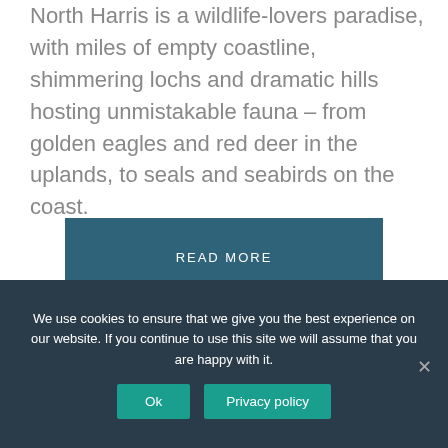North Harris is a wildlife-lovers paradise, with miles of empty coastline, shimmering lochs and dramatic hills hosting unmistakable fauna – from golden eagles and red deer in the uplands, to seals and seabirds on the coast.
READ MORE
We use cookies to ensure that we give you the best experience on our website. If you continue to use this site we will assume that you are happy with it.
Ok
Privacy policy